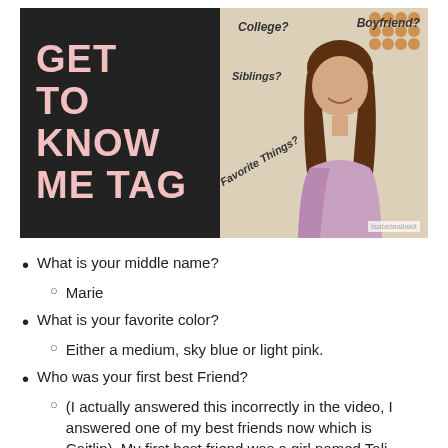[Figure (screenshot): Thumbnail image split in two halves: left half is dark/black background with large bold pink text reading 'GET TO KNOW ME TAG'; right half shows a young woman smiling, with text overlays reading 'College?', 'Boyfriend?', 'Siblings?', 'Favorite Things?' and a watermark 'isabelaailakit']
What is your middle name?
Marie
What is your favorite color?
Either a medium, sky blue or light pink.
Who was your first best Friend?
(I actually answered this incorrectly in the video, I answered one of my best friends now which is Caitlin). My first best friend was a girl named Tali...